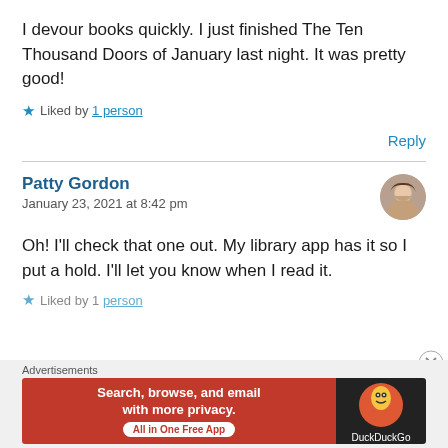I devour books quickly. I just finished The Ten Thousand Doors of January last night. It was pretty good!
★ Liked by 1 person
Reply
Patty Gordon
January 23, 2021 at 8:42 pm
Oh! I'll check that one out. My library app has it so I put a hold. I'll let you know when I read it.
★ Liked by 1 person
[Figure (infographic): DuckDuckGo advertisement banner: orange background with text 'Search, browse, and email with more privacy. All in One Free App' and DuckDuckGo logo on dark background]